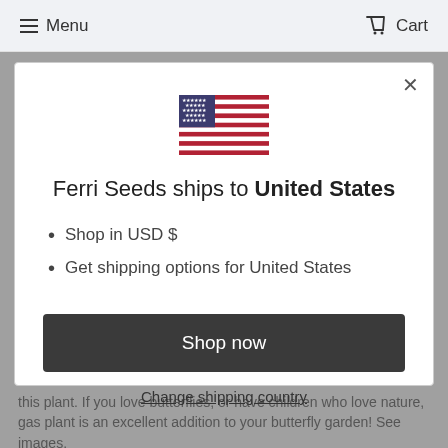Menu   Cart
[Figure (illustration): United States flag emoji/icon]
Ferri Seeds ships to United States
Shop in USD $
Get shipping options for United States
Shop now
Change shipping country
this plant. If you love butterflies, or have children who love nature, gas plant is an excellent addition to your butterfly garden! See images.